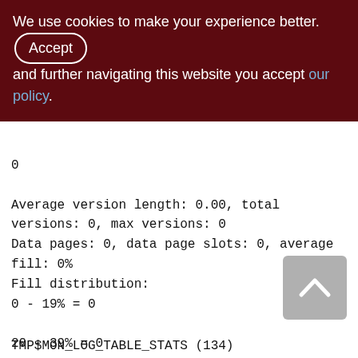We use cookies to make your experience better. By accepting and further navigating this website you accept our policy.
0
Average version length: 0.00, total versions: 0, max versions: 0
Data pages: 0, data page slots: 0, average fill: 0%
Fill distribution:
0 - 19% = 0
20 - 39% = 0
40 - 59% = 0
60 - 79% = 0
80 - 99% = 0
TMP$MON_LOG_TABLE_STATS (134)